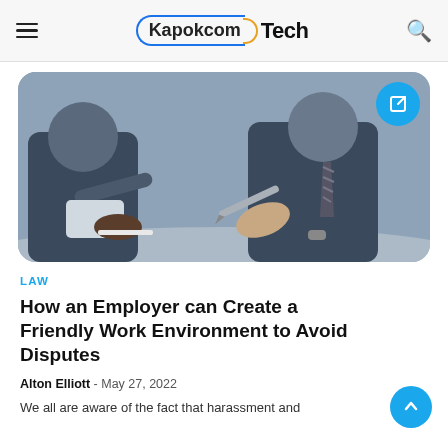Kapokcom Tech
[Figure (photo): Two businessmen at a table, one pointing with a pen at documents, another holding a tablet, wearing suits and ties, blurred background.]
LAW
How an Employer can Create a Friendly Work Environment to Avoid Disputes
Alton Elliott - May 27, 2022
We all are aware of the fact that harassment and